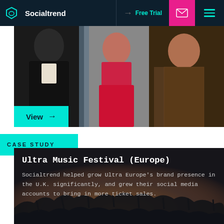Socialtrend | Free Trial
[Figure (photo): Hero image showing people in formal and colorful attire, with a cyan 'View →' button overlay at bottom left]
CASE STUDY
Ultra Music Festival (Europe)
Socialtrend helped grow Ultra Europe's brand presence in the U.K. significantly, and grew their social media accounts to bring in more ticket sales.
[Figure (photo): Concert crowd silhouette with warm orange stage lighting at bottom of dark card]